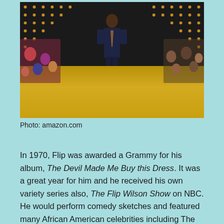[Figure (photo): A person in a dark suit standing on a stage with marquee lights in the background and audience members seated on both sides]
Photo: amazon.com
In 1970, Flip was awarded a Grammy for his album, The Devil Made Me Buy this Dress. It was a great year for him and he received his own variety series also, The Flip Wilson Show on NBC. He would perform comedy sketches and featured many African American celebrities including The Supremes, The Jackson Five, Redd Foxx, and Bill Russell. George Carlin made